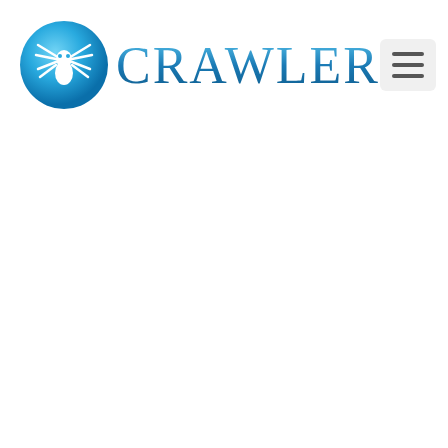[Figure (logo): Crawler logo: blue circular icon with white spider on the left, and the text CRAWLER in large blue gradient serif letters on the right. A hamburger menu button (three horizontal lines) is positioned in the top-right corner.]